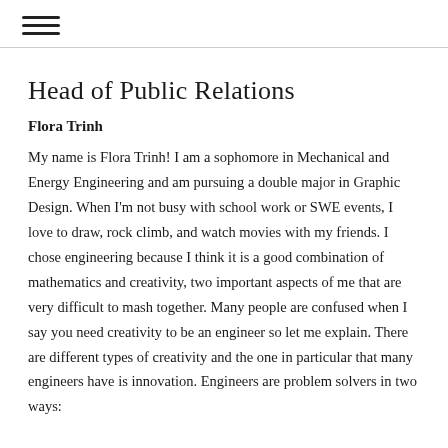☰
Head of Public Relations
Flora Trinh
My name is Flora Trinh! I am a sophomore in Mechanical and Energy Engineering and am pursuing a double major in Graphic Design. When I'm not busy with school work or SWE events, I love to draw, rock climb, and watch movies with my friends. I chose engineering because I think it is a good combination of mathematics and creativity, two important aspects of me that are very difficult to mash together. Many people are confused when I say you need creativity to be an engineer so let me explain. There are different types of creativity and the one in particular that many engineers have is innovation. Engineers are problem solvers in two ways: